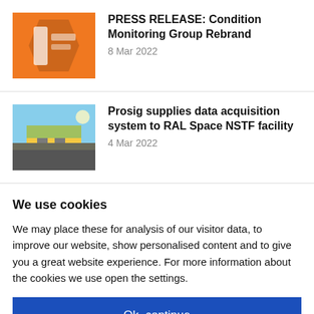[Figure (photo): Orange square thumbnail with abstract graphic]
PRESS RELEASE: Condition Monitoring Group Rebrand
8 Mar 2022
[Figure (photo): Building exterior photo thumbnail]
Prosig supplies data acquisition system to RAL Space NSTF facility
4 Mar 2022
We use cookies
We may place these for analysis of our visitor data, to improve our website, show personalised content and to give you a great website experience. For more information about the cookies we use open the settings.
Ok, continue
Deny
No, adjust